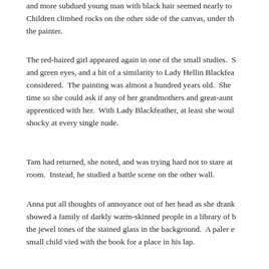and more subdued young man with black hair seemed nearly to Children climbed rocks on the other side of the canvas, under th the painter.
The red-haired girl appeared again in one of the small studies. S and green eyes, and a bit of a similarity to Lady Hellin Blackfea considered.  The painting was almost a hundred years old.  She time so she could ask if any of her grandmothers and great-aunt apprenticed with her.  With Lady Blackfeather, at least she woul shocky at every single nude.
Tam had returned, she noted, and was trying hard not to stare at room.  Instead, he studied a battle scene on the other wall.
Anna put all thoughts of annoyance out of her head as she drank showed a family of darkly warm-skinned people in a library of b the jewel tones of the stained glass in the background.  A paler e small child vied with the book for a place in his lap.